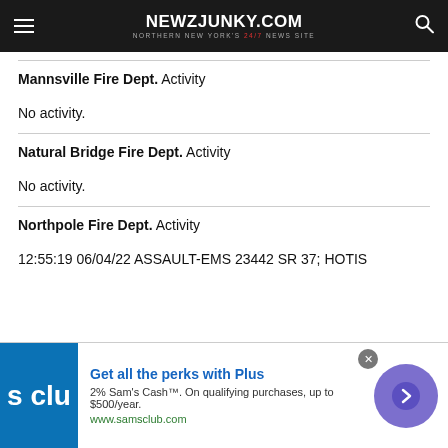NEWZJUNKY.COM — NORTHERN NEW YORK'S 24/7 NEWS SITE
Mannsville Fire Dept. Activity
No activity.
Natural Bridge Fire Dept. Activity
No activity.
Northpole Fire Dept. Activity
12:55:19  06/04/22 ASSAULT-EMS 23442 SR 37; HOTIS
[Figure (other): Sam's Club advertisement banner: Get all the perks with Plus. 2% Sam's Cash. On qualifying purchases, up to $500/year. www.samsclub.com]